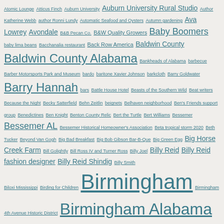Tag cloud index page featuring terms from Atomic Lounge through Bottega, with varying font sizes indicating frequency/importance. Terms include: Atomic Lounge, Atticus Finch, Auburn University, Auburn University Rural Studio, Author Katherine Webb, author Ronni Lundy, Automatic Seafood and Oysters, Autumn gardening, Ava Lowrey, Avondale, B&B Pecan Co., B&W Quality Growers, Baby Boomers, baby lima beans, Bacchanalia restaurant, Back Row America, Baldwin County, Baldwin County Alabama, Bankheads of Alabama, barbecue, Barber Motorsports Park and Museum, bardo, baritone Xavier Johnson, barkcloth, Barry Goldwater, Barry Hannah, bars, Battle House Hotel, Beasts of the Southern Wild, Beat writers, Because the Night, Becky Satterfield, Behn Zeitlin, beignets, Belhaven neighborhood, Ben's Friends support group, Benedictines, Ben Knight, Benton County Relic, Bert the Turtle, Bert Williams, Bessemer, Bessemer AL, Bessemer Historical Homeowner's Association, Beta tropical storm 2020, Beth Tucker, Beyond Van Gogh, Big Bad Breakfast, Big Bob Gibson Bar-B-Que, Big Green Egg, Big Horse Creek Farm, Bill Golightly, Bill Ross IV and Turner Ross, Billy Joel, Billy Reid, Billy Reid fashion designer, Billy Reid Shindig, Billy Smith, Biloxi Mississippi, Birding for Children, Birmingham, Birmingham 4th Avenue Historic District, Birmingham Alabama, Birmingham AL churches, Birmingham AL music, Birmingham AL restaurants, Birmingham architecture, Birmingham Barons, Birmingham Bowl, Birmingham hot dogs, Birmingham industry, Birmingham Museum of Art, Birmingham Red Mountain, Birmingham Sidewalk Film Festival, Birmingham television, Birmingham Terminal Station, Birmingham Theatre District, Birmingham V.A. Medical Center, Blake Ells author, Blue River Indiana, Blue State/Red State, Bluewater Creek Farm, Bluff View Art District, BMA Callahan Lecture Series on Asian Art, Bobby Shelton, Bob Dylan, Bob Dylan and Sam Shepard, Bob Sykes Bar-B-Q, Bo McGuire, Bong Joon Ho's Parasite, Bonnie Blue Farms, book collecting, books, Bottega